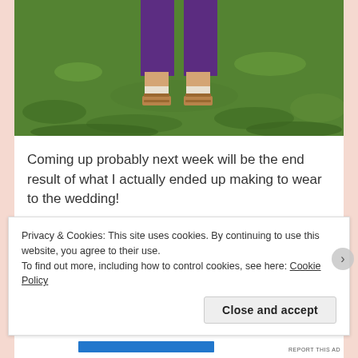[Figure (photo): Lower legs and feet of a person wearing purple wide-leg trousers and brown strappy sandals, standing on green grass]
Coming up probably next week will be the end result of what I actually ended up making to wear to the wedding!
Advertisements
Privacy & Cookies: This site uses cookies. By continuing to use this website, you agree to their use.
To find out more, including how to control cookies, see here: Cookie Policy
Close and accept